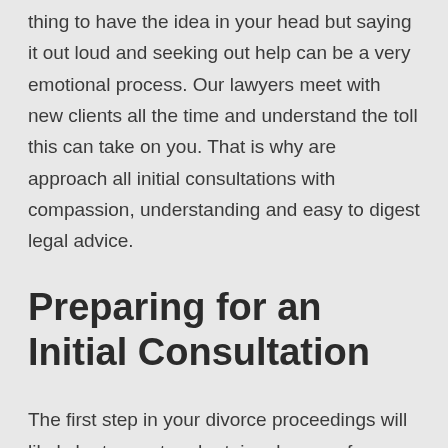thing to have the idea in your head but saying it out loud and seeking out help can be a very emotional process. Our lawyers meet with new clients all the time and understand the toll this can take on you. That is why are approach all initial consultations with compassion, understanding and easy to digest legal advice.
Preparing for an Initial Consultation
The first step in your divorce proceedings will likely be to meet and retain a lawyer of your choosing. You can start by Googling / researching firms in your area to get an idea of